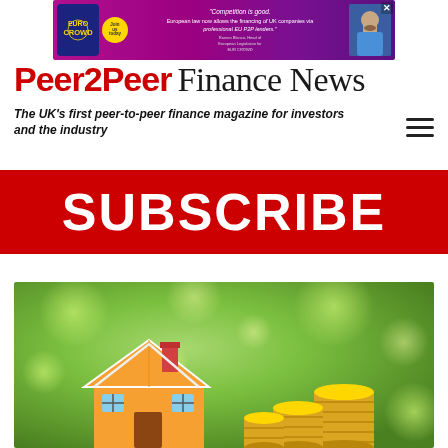[Figure (other): Advertisement banner for EuroCrowd P2P lending platform with purple/magenta background, logo, text about European law allowing UK company financing via P2P lenders, and a photo of a man]
Peer2Peer Finance News
The UK's first peer-to-peer finance magazine for investors and the industry
[Figure (other): Red SUBSCRIBE banner button]
[Figure (photo): Photo showing a miniature house model and stacked gold coins on a green bokeh background, representing property investment or peer-to-peer lending]